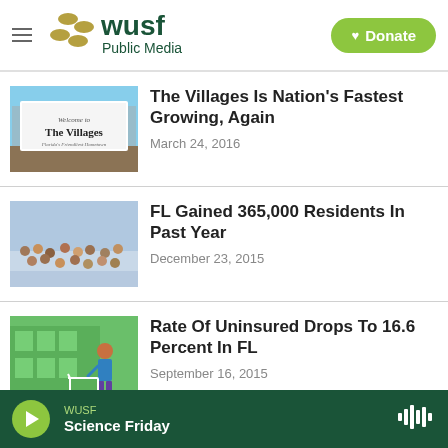WUSF Public Media | Donate
[Figure (photo): Welcome to The Villages sign billboard]
The Villages Is Nation's Fastest Growing, Again
March 24, 2016
[Figure (photo): Crowded beach with many people in the surf]
FL Gained 365,000 Residents In Past Year
December 23, 2015
[Figure (illustration): Person pushing shopping cart in front of green building - healthcare illustration]
Rate Of Uninsured Drops To 16.6 Percent In FL
September 16, 2015
WUSF Science Friday